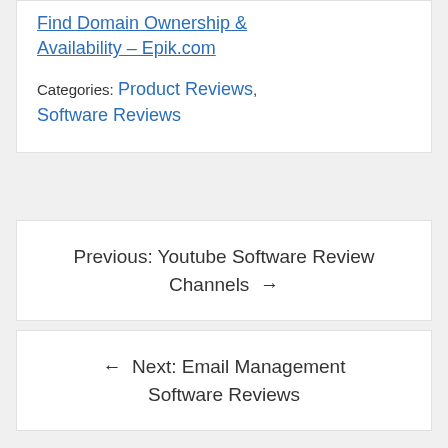Find Domain Ownership & Availability – Epik.com
Categories: Product Reviews, Software Reviews
Previous: Youtube Software Review Channels →
← Next: Email Management Software Reviews